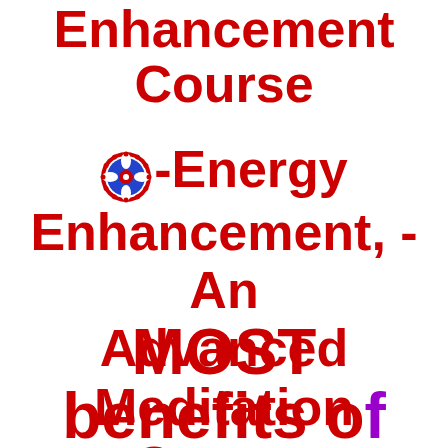Enhancement Course
◉-Energy Enhancement, - An Advanced Meditation Course which gives the MOST benefits of